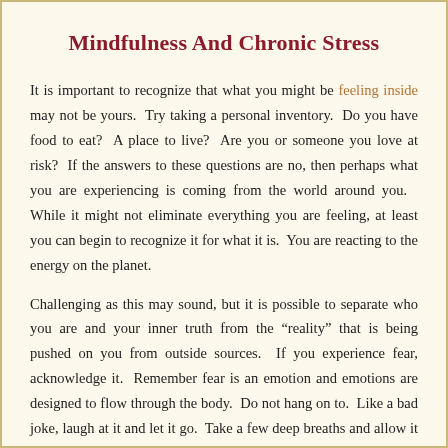Mindfulness And Chronic Stress
It is important to recognize that what you might be feeling inside may not be yours.  Try taking a personal inventory.  Do you have food to eat?  A place to live?  Are you or someone you love at risk?  If the answers to these questions are no, then perhaps what you are experiencing is coming from the world around you.   While it might not eliminate everything you are feeling, at least you can begin to recognize it for what it is.  You are reacting to the energy on the planet.
Challenging as this may sound, but it is possible to separate who you are and your inner truth from the “reality” that is being pushed on you from outside sources.  If you experience fear, acknowledge it.  Remember fear is an emotion and emotions are designed to flow through the body.  Do not hang on to.  Like a bad joke, laugh at it and let it go.  Take a few deep breaths and allow it move through you –